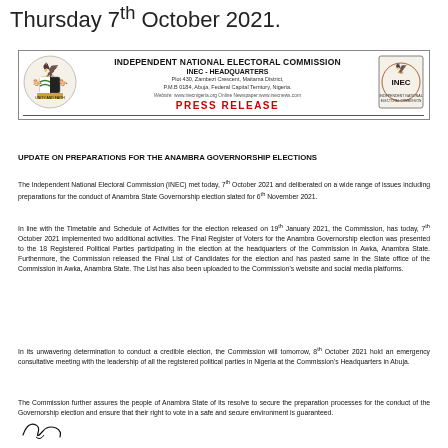Thursday 7th October 2021.
[Figure (logo): INEC letterhead with coat of arms logo on left, INEC seal on right, organization name INDEPENDENT NATIONAL ELECTORAL COMMISSION, INEC - HEADQUARTERS, address Plot 430 Zambezi Crescent Maitama District P.M.B 0184 Abuja Federal Capital Territory Nigeria, website info, PRESS RELEASE in red]
UPDATE ON PREPARATIONS FOR THE ANAMBRA GOVERNORSHIP ELECTIONS
The Independent National Electoral Commission (INEC) met today, 7th October 2021 and deliberated on a wide range of issues including preparations for the conduct of Anambra State Governorship election slated for 6th November 2021.
In line with the Timetable and Schedule of Activities for the election released on 19th January 2021, the Commission, has today, 7th October 2021 implemented two additional activities. The Final Register of Voters for the Anambra Governorship election was presented to the 18 Registered Political Parties participating in the election at the headquarters of the Commission in Awka, Anambra State. Furthermore, the Commission released the Final List of Candidates for the election and has pasted same in the State office of the Commission in Awka, Anambra State. The List has also been uploaded to the Commission's website and social media platforms.
In its unwavering determination to conduct a credible election, the Commission will tomorrow, 8th October 2021 hold an emergency consultative meeting with the leadership of all the registered political parties in Nigeria at the Commission's Headquarters in Abuja.
The Commission further assures the people of Anambra State of its resolve to secure the preparation processes for the conduct of the Governorship election and ensure that their right to vote in a safe and secure environment is guaranteed.
[Figure (illustration): Signature of official]